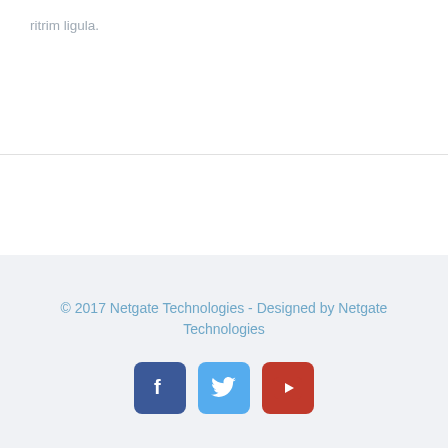ritrim ligula.
© 2017 Netgate Technologies - Designed by Netgate Technologies
[Figure (infographic): Three social media icon buttons: Facebook (blue), Twitter (light blue), YouTube (red)]